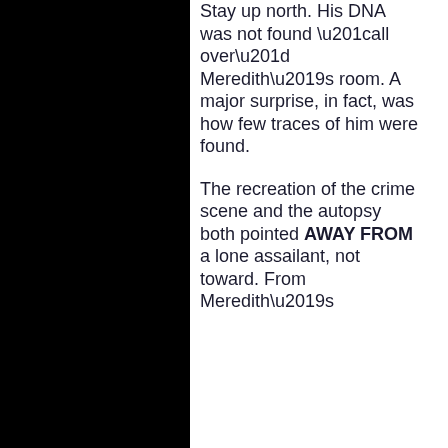Stay up north. His DNA was not found “all over” Meredith’s room. A major surprise, in fact, was how few traces of him were found.
The recreation of the crime scene and the autopsy both pointed AWAY FROM a lone assailant, not toward. From Meredith’s